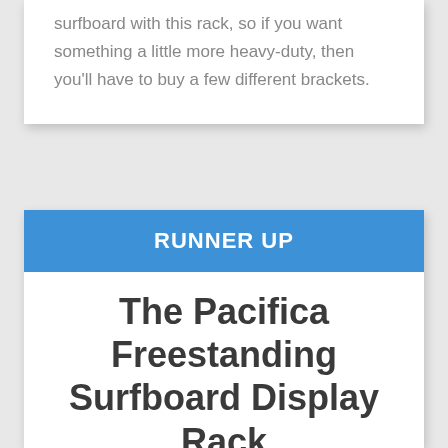Unfortunately, you'll only be able to mount one surfboard with this rack, so if you want something a little more heavy-duty, then you'll have to buy a few different brackets.
RUNNER UP
The Pacifica Freestanding Surfboard Display Rack